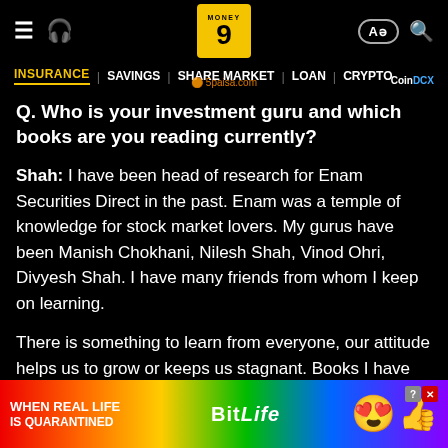Money9 — INSURANCE | SAVINGS | SHARE MARKET | LOAN | CRYPTO
Q. Who is your investment guru and which books are you reading currently?
Shah: I have been head of research for Enam Securities Direct in the past. Enam was a temple of knowledge for stock market lovers. My gurus have been Manish Chokhani, Nilesh Shah, Vinod Ohri, Divyesh Shah. I have many friends from whom I keep on learning.
There is something to learn from everyone, our attitude helps us to grow or keeps us stagnant. Books I have just finished are “Psycholo…” “Joys of Compo…” and there are “The…” “Pocketbook of Wisd…” …oblest